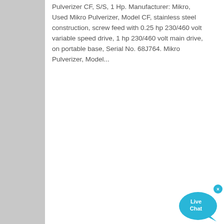Pulverizer CF, S/S, 1 Hp. Manufacturer: Mikro, Used Mikro Pulverizer, Model CF, stainless steel construction, screw feed with 0.25 hp 230/460 volt variable speed drive, 1 hp 230/460 volt main drive, on portable base, Serial No. 68J764. Mikro Pulverizer, Model...
[Figure (other): Live Chat speech bubble widget in blue/cyan color with close button]
crushed li ne sale m
craigslist nv jaw rock crusher used
8mm steel ball weight
miningprocessingequipmentssuppliercompaniesinpakista
stone crusher meshasstone crusher mesin